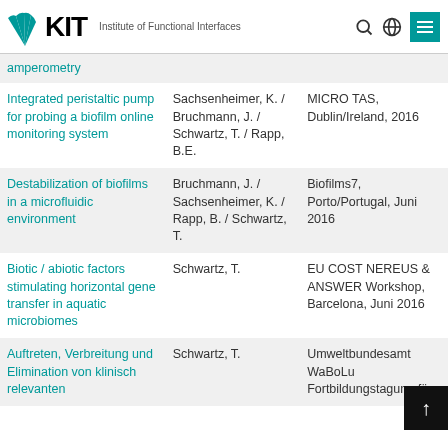KIT – Institute of Functional Interfaces
| Title | Authors | Venue |
| --- | --- | --- |
| amperometry |  |  |
| Integrated peristaltic pump for probing a biofilm online monitoring system | Sachsenheimer, K. / Bruchmann, J. / Schwartz, T. / Rapp, B.E. | MICRO TAS, Dublin/Ireland, 2016 |
| Destabilization of biofilms in a microfluidic environment | Bruchmann, J. / Sachsenheimer, K. / Rapp, B. / Schwartz, T. | Biofilms7, Porto/Portugal, Juni 2016 |
| Biotic / abiotic factors stimulating horizontal gene transfer in aquatic microbiomes | Schwartz, T. | EU COST NEREUS & ANSWER Workshop, Barcelona, Juni 2016 |
| Auftreten, Verbreitung und Elimination von klinisch relevanten | Schwartz, T. | Umweltbundesamt WaBoLu Fortbildungstagung für |